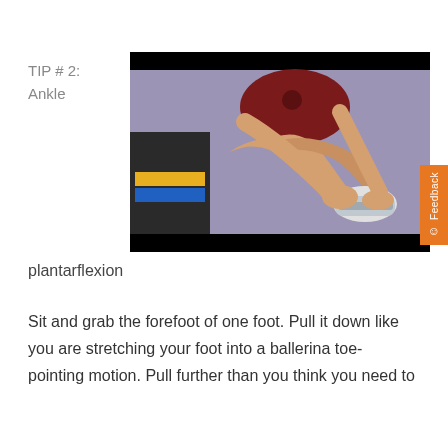TIP # 2:
Ankle
[Figure (photo): A person sitting and holding their foot, demonstrating ankle plantarflexion stretch exercise. The person is wearing a dark red polo shirt and sneakers, sitting on what appears to a treatment table in a clinical setting with a purple wall in the background.]
plantarflexion
Sit and grab the forefoot of one foot.  Pull it down like you are stretching your foot into a ballerina toe-pointing motion.  Pull further than you think you need to